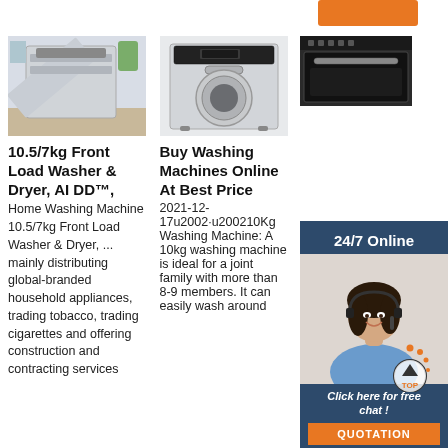[Figure (photo): Orange button top right (partial, cropped)]
[Figure (photo): Dishwasher product image - silver open dishwasher in kitchen setting]
[Figure (photo): Compact washing machine product image - silver front-loading machine]
[Figure (photo): Black built-in oven product image]
10.5/7kg Front Load Washer & Dryer, AI DD™,
Home Washing Machine 10.5/7kg Front Load Washer & Dryer, ... mainly distributing global-branded household appliances, trading tobacco, trading cigarettes and offering construction and contracting services
Buy Washing Machines Online At Best Price
2021-12-17u2002·u200210Kg Washing Machine: A 10kg washing machine is ideal for a joint family with more than 8-9 members. It can easily wash around
MINISO
The sma light was by the N designer team Permafrost of MINISO. Four designers of Permafrost graduated from the Oslo School of Architecture (Norway's top three design school), who
[Figure (photo): 24/7 Online customer service overlay with woman wearing headset]
Click here for free chat!
QUOTATION
[Figure (logo): TOP scroll-to-top badge with orange dots and arrow]